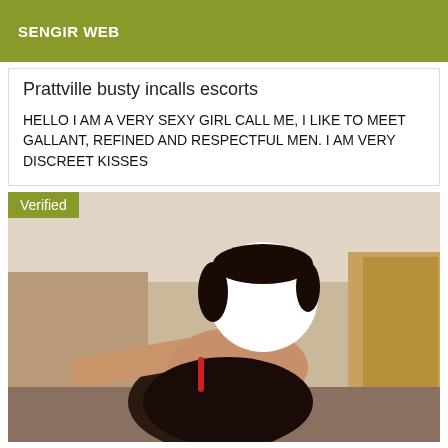SENGIR WEB
Prattville busty incalls escorts
HELLO I AM A VERY SEXY GIRL CALL ME, I LIKE TO MEET GALLANT, REFINED AND RESPECTFUL MEN. I AM VERY DISCREET KISSES
[Figure (photo): Photo of a person in a room, face obscured by a white circle blur. Person wearing dark red lace clothing. Room has wooden furniture and beige walls. Verified badge in top-left corner.]